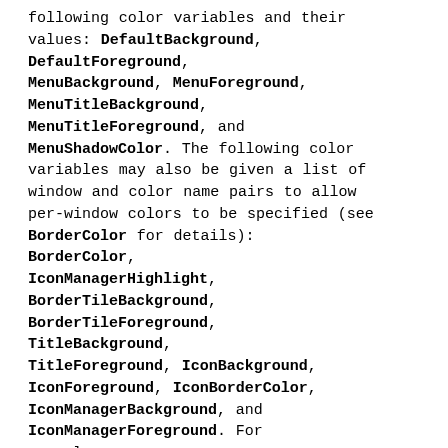following color variables and their values: DefaultBackground, DefaultForeground, MenuBackground, MenuForeground, MenuTitleBackground, MenuTitleForeground, and MenuShadowColor. The following color variables may also be given a list of window and color name pairs to allow per-window colors to be specified (see BorderColor for details): BorderColor, IconManagerHighlight, BorderTileBackground, BorderTileForeground, TitleBackground, TitleForeground, IconBackground, IconForeground, IconBorderColor, IconManagerBackground, and IconManagerForeground. For example: